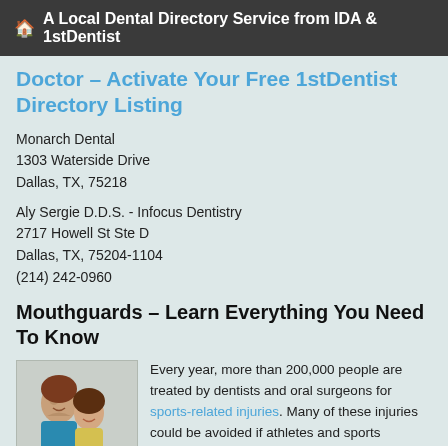A Local Dental Directory Service from IDA & 1stDentist
Doctor - Activate Your Free 1stDentist Directory Listing
Monarch Dental
1303 Waterside Drive
Dallas, TX, 75218
Aly Sergie D.D.S. - Infocus Dentistry
2717 Howell St Ste D
Dallas, TX, 75204-1104
(214) 242-0960
Mouthguards - Learn Everything You Need To Know
[Figure (photo): Photo of a woman and a young girl smiling together]
Every year, more than 200,000 people are treated by dentists and oral surgeons for sports-related injuries. Many of these injuries could be avoided if athletes and sports enthusiasts used protective equipment.